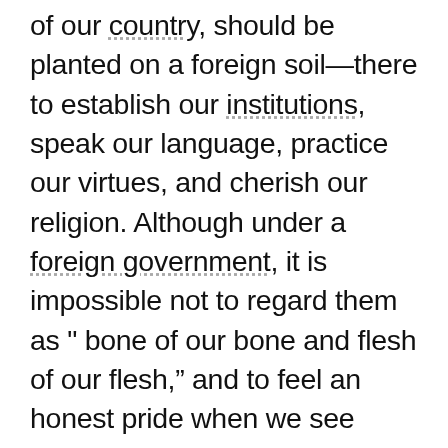of our country, should be planted on a foreign soil—there to establish our institutions, speak our language, practice our virtues, and cherish our religion. Although under a foreign government, it is impossible not to regard them as " bone of our bone and flesh of our flesh," and to feel an honest pride when we see them extending the influence of civilization and industry over a territory the most inviting perhaps on the face of the earth, but hitherto, only the abode of wild beasts and roaming savages. We have been favored with a letter from a gentleman long resident in Texas, from which we extract the following extract.